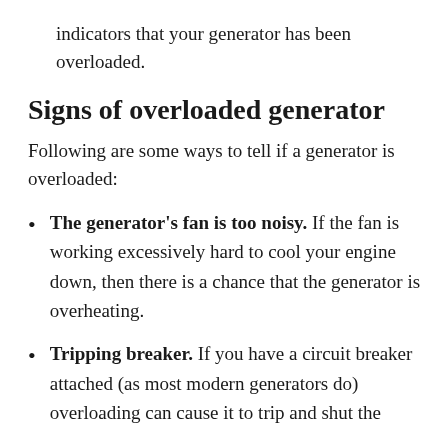indicators that your generator has been overloaded.
Signs of overloaded generator
Following are some ways to tell if a generator is overloaded:
The generator's fan is too noisy. If the fan is working excessively hard to cool your engine down, then there is a chance that the generator is overheating.
Tripping breaker. If you have a circuit breaker attached (as most modern generators do) overloading can cause it to trip and shut the